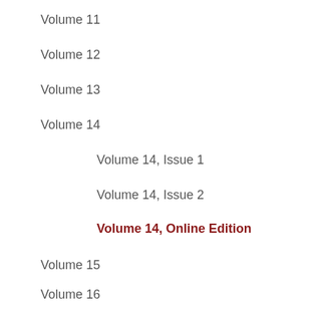Volume 11
Volume 12
Volume 13
Volume 14
Volume 14, Issue 1
Volume 14, Issue 2
Volume 14, Online Edition
Volume 15
Volume 16